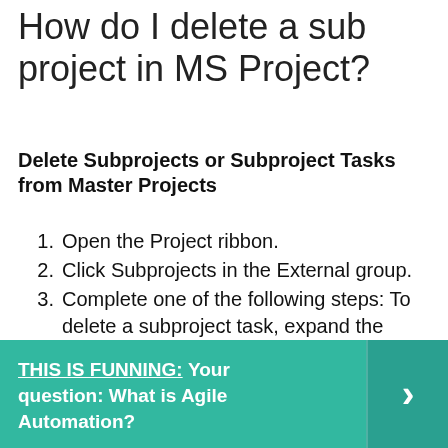How do I delete a sub project in MS Project?
Delete Subprojects or Subproject Tasks from Master Projects
Open the Project ribbon.
Click Subprojects in the External group.
Complete one of the following steps: To delete a subproject task, expand the summary level tasks to select the subproject task you want to delete from the Tasks list. …
Click Delete and click OK.
THIS IS FUNNING: Your question: What is Agile Automation?